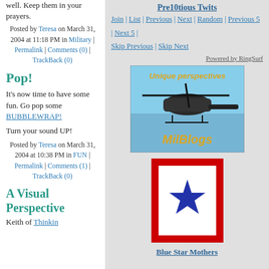well. Keep them in your prayers.
Posted by Teresa on March 31, 2004 at 11:18 PM in Military | Permalink | Comments (0) | TrackBack (0)
Pop!
It's now time to have some fun. Go pop some BUBBLEWRAP!
Turn your sound UP!
Posted by Teresa on March 31, 2004 at 10:38 PM in FUN | Permalink | Comments (1) | TrackBack (0)
A Visual Perspective
Keith of Thinkin
Pre10tious Twits
Join | List | Previous | Next | Random | Previous 5 | Next 5 | Skip Previous | Skip Next
Powered by RingSurf
[Figure (photo): MilBlogs banner with helicopter image and 'Unique perspectives' text]
[Figure (illustration): Blue Star Mothers flag: red border, white center, blue star]
Blue Star Mothers